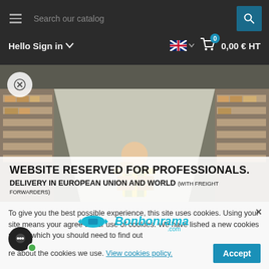Search our catalog | Hello Sign in | 0,00 € HT
[Figure (screenshot): Warehouse interior with shelves of boxes and a smiling worker in yellow vest, overlaid with a white banner reading WEBSITE RESERVED FOR PROFESSIONALS. DELIVERY IN EUROPEAN UNION AND WORLD (WITH FREIGHT FORWARDERS) and the Bonbonrama.com logo]
To give you the best possible experience, this site uses cookies. Using your site means your agree to our use of cookies. We have lished a new cookies policy, which you should need to find out
re about the cookies we use. View cookies policy.
Accept